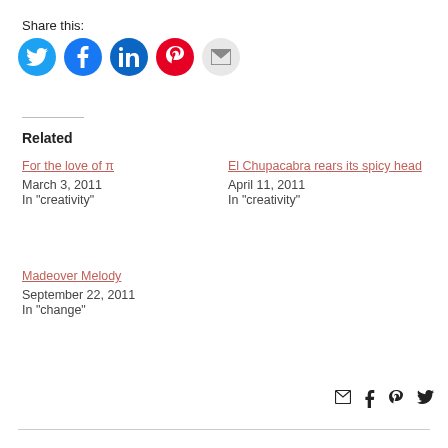Share this:
[Figure (infographic): Social share buttons: Twitter (blue bird), Facebook (blue f), LinkedIn (blue in), Pinterest (red P), Email (grey envelope)]
Related
For the love of π
March 3, 2011
In "creativity"
El Chupacabra rears its spicy head
April 11, 2011
In "creativity"
Madeover Melody
September 22, 2011
In "change"
[Figure (infographic): Bottom share icons: email envelope, Facebook f, Pinterest P, Twitter bird]